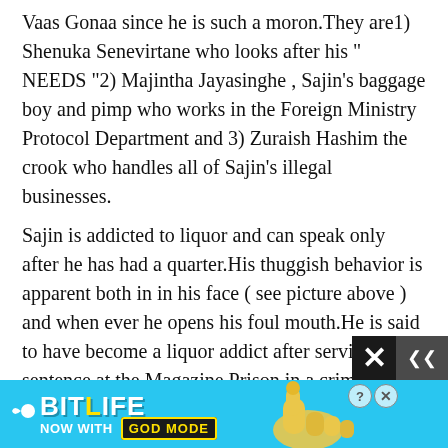Vaas Gonaa since he is such a moron.They are1) Shenuka Senevirtane who looks after his " NEEDS "2) Majintha Jayasinghe , Sajin’s baggage boy and pimp who works in the Foreign Ministry Protocol Department and 3) Zuraish Hashim the crook who handles all of Sajin’s illegal businesses.
Sajin is addicted to liquor and can speak only after he has had a quarter.His thuggish behavior is apparent both in in his face ( see picture above ) and when ever he opens his foul mouth.He is said to have become a liquor addict after serving a sentence at the Magazine Prison in a criminal case.
[Figure (screenshot): BitLife advertisement banner: 'BitLife NOW WITH GOD MODE' with thumbs-up graphic on cyan background]